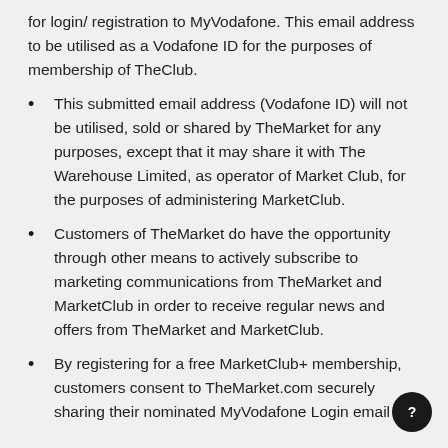for login/ registration to MyVodafone. This email address to be utilised as a Vodafone ID for the purposes of membership of TheClub.
This submitted email address (Vodafone ID) will not be utilised, sold or shared by TheMarket for any purposes, except that it may share it with The Warehouse Limited, as operator of Market Club, for the purposes of administering MarketClub.
Customers of TheMarket do have the opportunity through other means to actively subscribe to marketing communications from TheMarket and MarketClub in order to receive regular news and offers from TheMarket and MarketClub.
By registering for a free MarketClub+ membership, customers consent to TheMarket.com securely sharing their nominated MyVodafone Login email